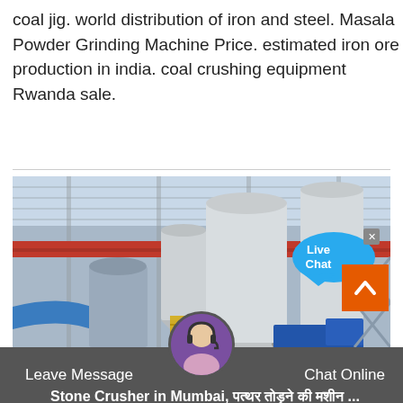coal jig. world distribution of iron and steel. Masala Powder Grinding Machine Price. estimated iron ore production in india. coal crushing equipment Rwanda sale.
[Figure (photo): Industrial factory interior showing large silos, grinding mills, conveyor equipment, a red overhead crane beam, blue ductwork and machinery in a large warehouse-like building. A 'Live Chat' speech bubble overlay appears in the upper right.]
Stone Crusher in Mumbai, पत्थर तोड़ने की मशीन ...